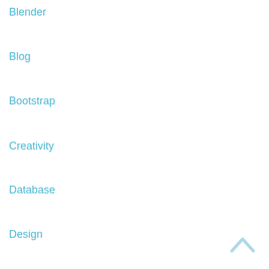Blender
Blog
Bootstrap
Creativity
Database
Design
General
GIMP
Javascript
Linux
Luxrender
Materials
Maya
Modeling
MySQL